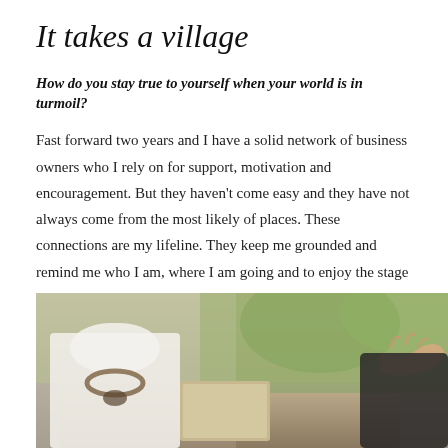It takes a village
How do you stay true to yourself when your world is in turmoil?
Fast forward two years and I have a solid network of business owners who I rely on for support, motivation and encouragement. But they haven't come easy and they have not always come from the most likely of places. These connections are my lifeline. They keep me grounded and remind me who I am, where I am going and to enjoy the stage that I am in.
[Figure (photo): Two people at a table, one wearing a white top with a beaded necklace, the other reaching toward a tablet or book on the table. Blurred outdoor background.]